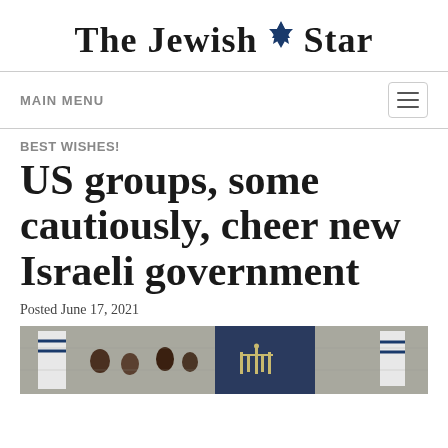The Jewish Star
MAIN MENU
BEST WISHES!
US groups, some cautiously, cheer new Israeli government
Posted June 17, 2021
[Figure (photo): Photo showing Israeli flags and a menorah emblem on a wall background, with people visible]